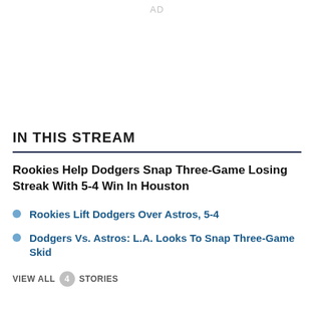AD
IN THIS STREAM
Rookies Help Dodgers Snap Three-Game Losing Streak With 5-4 Win In Houston
Rookies Lift Dodgers Over Astros, 5-4
Dodgers Vs. Astros: L.A. Looks To Snap Three-Game Skid
VIEW ALL 4 STORIES